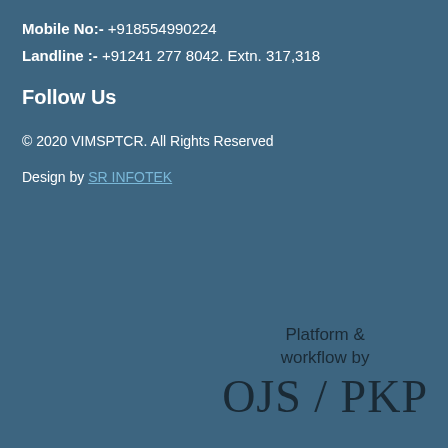Mobile No:- +918554990224
Landline :- +91241 277 8042. Extn. 317,318
Follow Us
© 2020 VIMSPTCR. All Rights Reserved
Design by SR INFOTEK
Platform & workflow by OJS / PKP